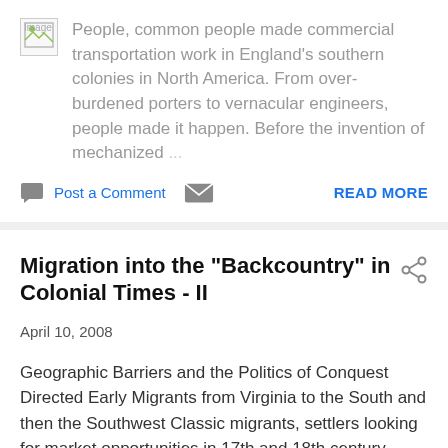[Figure (other): Broken/placeholder image thumbnail labeled 'Image']
People, common people made commercial transportation work in England's southern colonies in North America. From over-burdened porters to vernacular engineers, people made it happen. Before the invention of mechanized ...
Post a Comment  READ MORE
Migration into the "Backcountry" in Colonial Times - II
April 10, 2008
Geographic Barriers and the Politics of Conquest Directed Early Migrants from Virginia to the South and then the Southwest Classic migrants, settlers looking for market opportunities in 17th and 18th century Virginia seem to